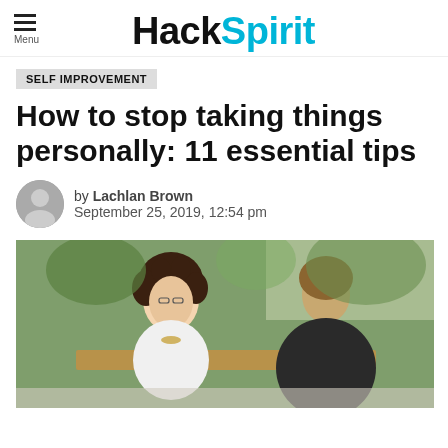HackSpirit
SELF IMPROVEMENT
How to stop taking things personally: 11 essential tips
by Lachlan Brown
September 25, 2019, 12:54 pm
[Figure (photo): A woman with curly dark hair wearing a white outfit and necklace sits across from a man in a dark jacket at an outdoor table, appearing to have a serious conversation. Green foliage visible in the background.]